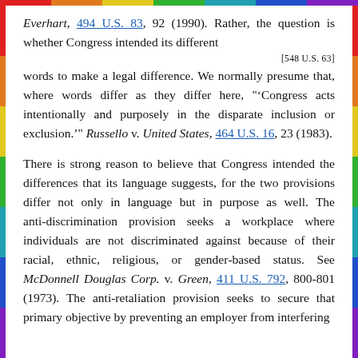Everhart, 494 U.S. 83, 92 (1990). Rather, the question is whether Congress intended its different
[548 U.S. 63]
words to make a legal difference. We normally presume that, where words differ as they differ here, "'Congress acts intentionally and purposely in the disparate inclusion or exclusion.'" Russello v. United States, 464 U.S. 16, 23 (1983).
There is strong reason to believe that Congress intended the differences that its language suggests, for the two provisions differ not only in language but in purpose as well. The anti-discrimination provision seeks a workplace where individuals are not discriminated against because of their racial, ethnic, religious, or gender-based status. See McDonnell Douglas Corp. v. Green, 411 U.S. 792, 800-801 (1973). The anti-retaliation provision seeks to secure that primary objective by preventing an employer from interfering